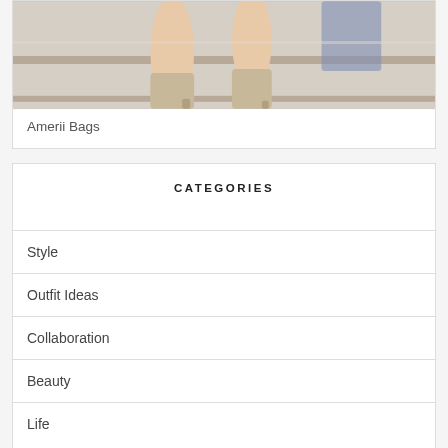[Figure (photo): Photo of person's legs wearing heeled ankle boots on concrete steps]
Amerii Bags
CATEGORIES
Style
Outfit Ideas
Collaboration
Beauty
Life